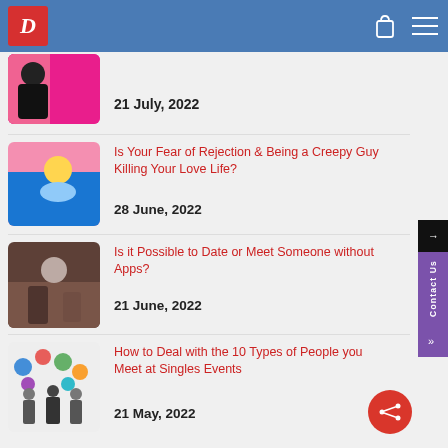D [logo] — navigation header with bag and menu icons
[Figure (photo): Thumbnail image - woman with pink background, partially visible]
21 July, 2022
[Figure (photo): Thumbnail image - blonde woman kissing in blue jacket]
Is Your Fear of Rejection & Being a Creepy Guy Killing Your Love Life?
28 June, 2022
[Figure (photo): Thumbnail image - woman with glasses sitting at cafe]
Is it Possible to Date or Meet Someone without Apps?
21 June, 2022
[Figure (photo): Thumbnail image - social media icons with three people]
How to Deal with the 10 Types of People you Meet at Singles Events
21 May, 2022